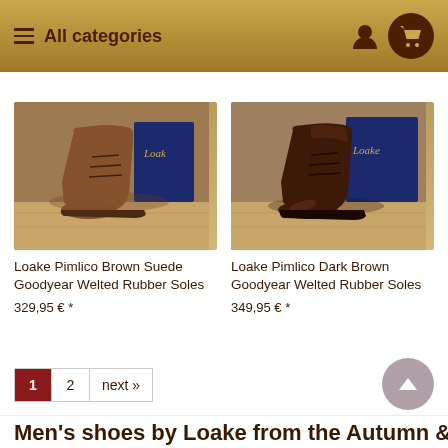≡ All categories
[Figure (photo): Brown suede chukka boot (Loake Pimlico) on a wooden surface with shoe care accessories and a dark blue Loake box in the background]
Loake Pimlico Brown Suede Goodyear Welted Rubber Soles
329,95 € *
[Figure (photo): Dark brown leather chukka boot (Loake Pimlico) on a wooden surface with shoe care accessories and a dark blue Loake box in the background]
Loake Pimlico Dark Brown Goodyear Welted Rubber Soles
349,95 € *
1  2  next »
Men's shoes by Loake from the Autumn &